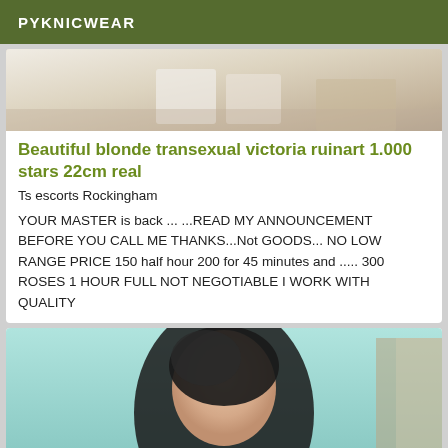PYKNICWEAR
[Figure (photo): Partial photo of a person's legs/feet at the bottom of the frame, with light colored clothing and wood-toned background]
Beautiful blonde transexual victoria ruinart 1.000 stars 22cm real
Ts escorts Rockingham
YOUR MASTER is back ... ...READ MY ANNOUNCEMENT BEFORE YOU CALL ME THANKS...Not GOODS... NO LOW RANGE PRICE 150 half hour 200 for 45 minutes and ..... 300 ROSES 1 HOUR FULL NOT NEGOTIABLE I WORK WITH QUALITY
[Figure (photo): Photo of a person with dark hair from behind/side angle, light blue/teal background]